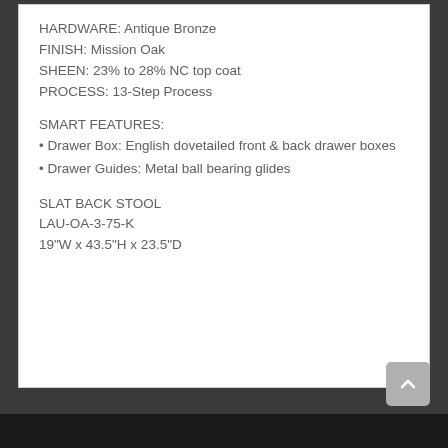HARDWARE: Antique Bronze
FINISH: Mission Oak
SHEEN: 23% to 28% NC top coat
PROCESS: 13-Step Process
SMART FEATURES:
• Drawer Box: English dovetailed front & back drawer boxes
• Drawer Guides: Metal ball bearing glides
SLAT BACK STOOL
LAU-OA-3-75-K
19"W x 43.5"H x 23.5"D